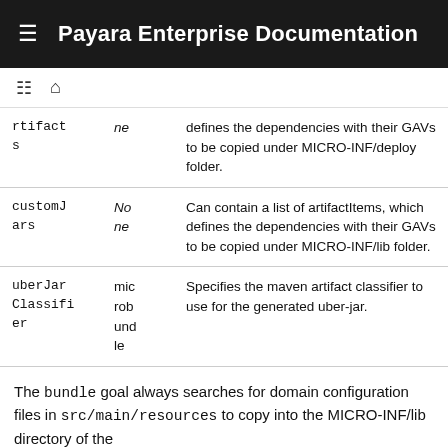Payara Enterprise Documentation
| Name | Default | Description |
| --- | --- | --- |
| rtifacts | ne | defines the dependencies with their GAVs to be copied under MICRO-INF/deploy folder. |
| customJars | None | Can contain a list of artifactItems, which defines the dependencies with their GAVs to be copied under MICRO-INF/lib folder. |
| uberJarClassifier | microbundle | Specifies the maven artifact classifier to use for the generated uber-jar. |
The bundle goal always searches for domain configuration files in src/main/resources to copy into the MICRO-INF/lib directory of the...